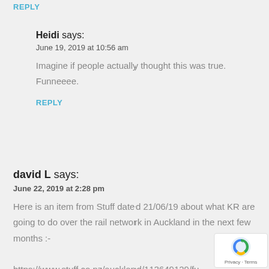REPLY
Heidi says:
June 19, 2019 at 10:56 am
Imagine if people actually thought this was true. Funneeee.
REPLY
david L says:
June 22, 2019 at 2:28 pm
Here is an item from Stuff dated 21/06/19 about what KR are going to do over the rail network in Auckland in the next few months :-
https://www.stuff.co.nz/auckland/113649129/fu but-declining-disruption-for-auckland-rail-commuters